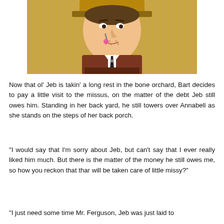[Figure (illustration): Pop-art style comic illustration of a man in a vest and hat blowing a bubble with gum, warm golden halftone background.]
Now that ol’ Jeb is takin’ a long rest in the bone orchard, Bart decides to pay a little visit to the missus, on the matter of the debt Jeb still owes him. Standing in her back yard, he still towers over Annabell as she stands on the steps of her back porch.
“I would say that I’m sorry about Jeb, but can’t say that I ever really liked him much. But there is the matter of the money he still owes me, so how you reckon that thar will be taken care of little missy?”
“I just need some time Mr. Ferguson, Jeb was just laid to